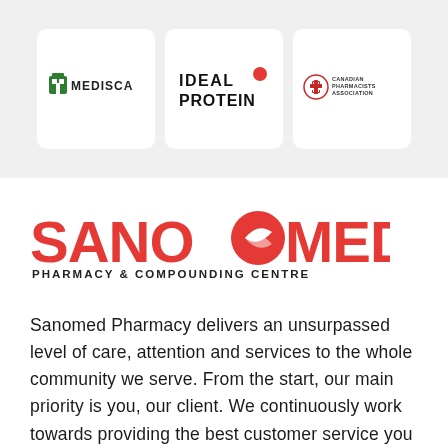[Figure (logo): MEDISCA logo - green house icon with text MEDISCA]
[Figure (logo): IDEAL PROTEIN logo - bold black text with red circle dot]
[Figure (logo): Canadian Pharmacists Association logo - red cross emblem with text]
[Figure (logo): SANOMED PHARMACY & COMPOUNDING CENTRE logo - red bold lettering with leaf/swoosh in the O]
Sanomed Pharmacy delivers an unsurpassed level of care, attention and services to the whole community we serve. From the start, our main priority is you, our client. We continuously work towards providing the best customer service you desire and deserve. By serving our customers fairly